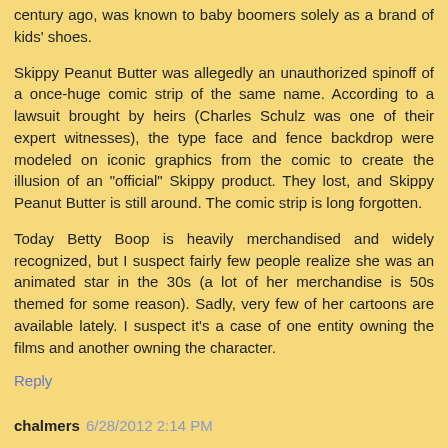century ago, was known to baby boomers solely as a brand of kids' shoes.
Skippy Peanut Butter was allegedly an unauthorized spinoff of a once-huge comic strip of the same name. According to a lawsuit brought by heirs (Charles Schulz was one of their expert witnesses), the type face and fence backdrop were modeled on iconic graphics from the comic to create the illusion of an "official" Skippy product. They lost, and Skippy Peanut Butter is still around. The comic strip is long forgotten.
Today Betty Boop is heavily merchandised and widely recognized, but I suspect fairly few people realize she was an animated star in the 30s (a lot of her merchandise is 50s themed for some reason). Sadly, very few of her cartoons are available lately. I suspect it's a case of one entity owning the films and another owning the character.
Reply
chalmers 6/28/2012 2:14 PM